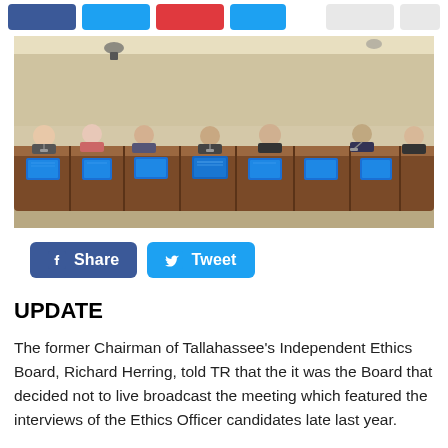[Figure (photo): Council chamber with officials seated at a long curved desk with blue monitor screens in front of each seat.]
[Figure (infographic): Social media share buttons: Facebook Share and Twitter Tweet buttons.]
UPDATE
The former Chairman of Tallahassee's Independent Ethics Board, Richard Herring, told TR that the it was the Board that decided not to live broadcast the meeting which featured the interviews of the Ethics Officer candidates late last year.
Herring told TR he could not remember why the Board made the decision.